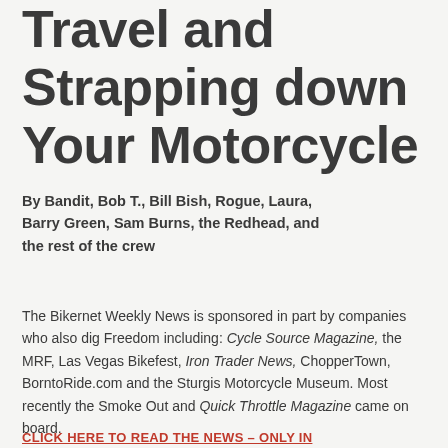Travel and Strapping down Your Motorcycle
By Bandit, Bob T., Bill Bish, Rogue, Laura, Barry Green, Sam Burns, the Redhead, and the rest of the crew
The Bikernet Weekly News is sponsored in part by companies who also dig Freedom including: Cycle Source Magazine, the MRF, Las Vegas Bikefest, Iron Trader News, ChopperTown, BorntoRide.com and the Sturgis Motorcycle Museum. Most recently the Smoke Out and Quick Throttle Magazine came on board.
CLICK HERE TO READ THE NEWS – ONLY IN